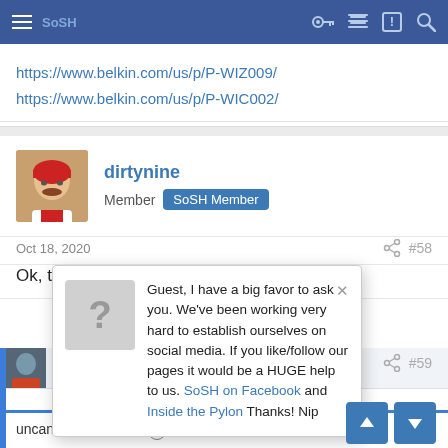SoSH navigation bar with hamburger menu, key, list, notification, and search icons
https://www.belkin.com/us/p/P-WIZ009/
https://www.belkin.com/us/p/P-WIC002/
dirtynine
Member SoSH Member
Oct 18, 2020   #58
Ok, thanks. That's excellent.
Guest, I have a big favor to ask you. We've been working very hard to establish ourselves on social media. If you like/follow our pages it would be a HUGE help to us. SoSH on Facebook and Inside the Pylon Thanks! Nip
uncannymanny said: ↑